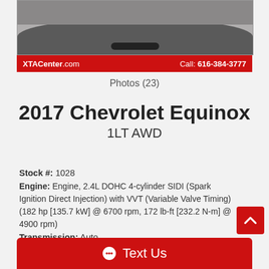[Figure (photo): Partial view of a gray 2017 Chevrolet Equinox vehicle front/bottom, photographed in a dealership lot or garage, with a red dealer banner overlay showing XTACenter.com and phone number.]
Photos (23)
2017 Chevrolet Equinox 1LT AWD
Stock #: 1028
Engine: Engine, 2.4L DOHC 4-cylinder SIDI (Spark Ignition Direct Injection) with VVT (Variable Valve Timing) (182 hp [135.7 kW] @ 6700 rpm, 172 lb-ft [232.2 N-m] @ 4900 rpm)
Transmission: Auto
Drive Train: AWD
Cylinders: 4